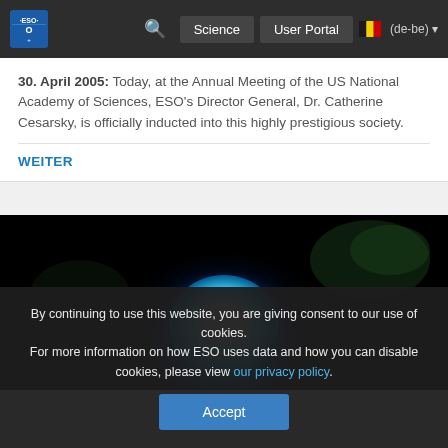ESO Science User Portal (de-be)
30. April 2005: Today, at the Annual Meeting of the US National Academy of Sciences, ESO's Director General, Dr. Catherine Cesarsky, is officially inducted into this highly prestigious society.
WEITER
[Figure (photo): Astronomical image showing a bright cyan/white glowing object against a black background with faint green nebulosity]
By continuing to use this website, you are giving consent to our use of cookies. For more information on how ESO uses data and how you can disable cookies, please view our privacy policy.